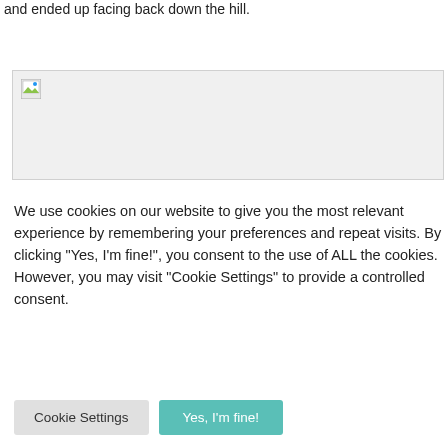and ended up facing back down the hill.
[Figure (photo): A broken/unloaded image placeholder with a small icon in the top-left corner, shown in a light grey bordered box.]
We use cookies on our website to give you the most relevant experience by remembering your preferences and repeat visits. By clicking "Yes, I'm fine!", you consent to the use of ALL the cookies. However, you may visit "Cookie Settings" to provide a controlled consent.
Cookie Settings
Yes, I'm fine!